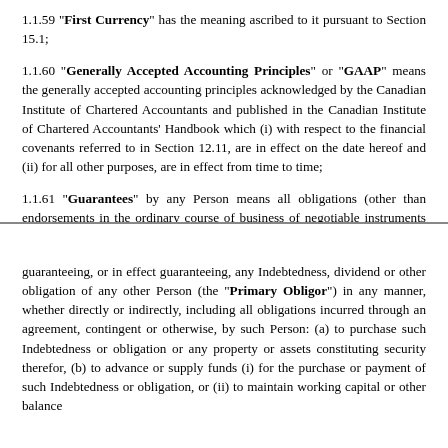1.1.59 "First Currency" has the meaning ascribed to it pursuant to Section 15.1;
1.1.60 "Generally Accepted Accounting Principles" or "GAAP" means the generally accepted accounting principles acknowledged by the Canadian Institute of Chartered Accountants and published in the Canadian Institute of Chartered Accountants' Handbook which (i) with respect to the financial covenants referred to in Section 12.11, are in effect on the date hereof and (ii) for all other purposes, are in effect from time to time;
1.1.61 "Guarantees" by any Person means all obligations (other than endorsements in the ordinary course of business of negotiable instruments for deposit or collection) of such Person
9
guaranteeing, or in effect guaranteeing, any Indebtedness, dividend or other obligation of any other Person (the "Primary Obligor") in any manner, whether directly or indirectly, including all obligations incurred through an agreement, contingent or otherwise, by such Person: (a) to purchase such Indebtedness or obligation or any property or assets constituting security therefor, (b) to advance or supply funds (i) for the purchase or payment of such Indebtedness or obligation, or (ii) to maintain working capital or other balance